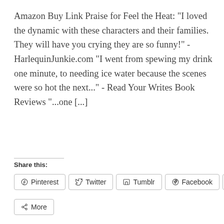Amazon Buy Link Praise for Feel the Heat: "I loved the dynamic with these characters and their families. They will have you crying they are so funny!" - HarlequinJunkie.com "I went from spewing my drink one minute, to needing ice water because the scenes were so hot the next..." - Read Your Writes Book Reviews "...one [...]
Share this:
[Figure (other): Social sharing buttons: Pinterest, Twitter, Tumblr, Facebook, Reddit, More]